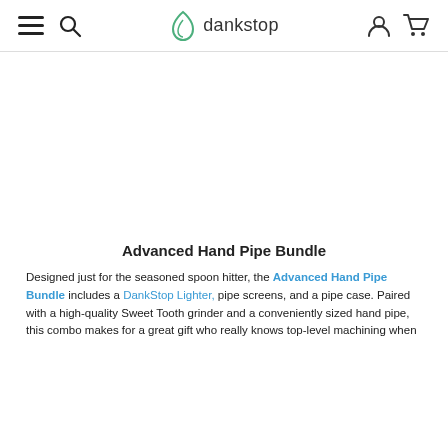dankstop
[Figure (other): White/blank image area (product image not loaded)]
Advanced Hand Pipe Bundle
Designed just for the seasoned spoon hitter, the Advanced Hand Pipe Bundle includes a DankStop Lighter, pipe screens, and a pipe case. Paired with a high-quality Sweet Tooth grinder and a conveniently sized hand pipe, this combo makes for a great gift who really knows top-level machining when